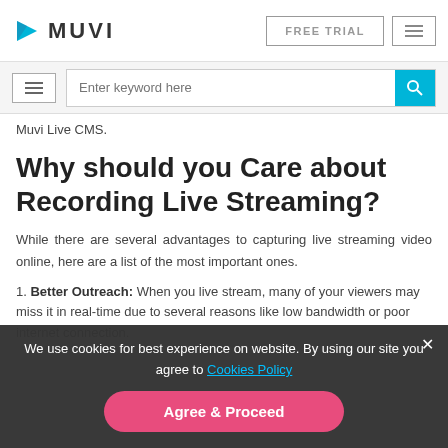MUVI | FREE TRIAL | menu
menu | Enter keyword here | search
Muvi Live CMS.
Why should you Care about Recording Live Streaming?
While there are several advantages to capturing live streaming video online, here are a list of the most important ones.
1. Better Outreach: When you live stream, many of your viewers may miss it in real-time due to several reasons like low bandwidth or poor internet connection.
We use cookies for best experience on website. By using our site you agree to Cookies Policy
Agree & Proceed